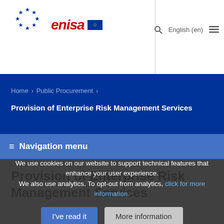[Figure (logo): ENISA logo with EU stars and red italic text, plus EU flag]
Home › Public Procurement › Provision of Enterprise Risk Management Services
≡ Navigation menu
Provision of Enterprise Risk Management Services
We use cookies on our website to support technical features that enhance your user experience. We also use analytics. To opt-out from analytics, click for more information.
I've read it | More information